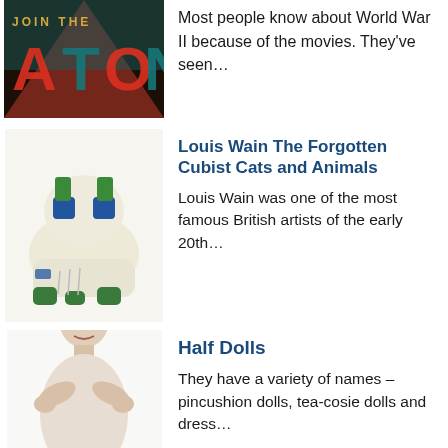[Figure (photo): Book or poster cover with text 'JOIN THE' and geometric orange/teal design, partially visible at top]
Most people know about World War II because of the movies. They've seen…
Louis Wain The Forgotten Cubist Cats and Animals
[Figure (photo): Ceramic figurine of a cubist-style cat/animal in white with blue and green decorations]
Louis Wain was one of the most famous British artists of the early 20th…
Half Dolls
[Figure (photo): Porcelain half doll figurine of a woman, white/cream colored]
They have a variety of names – pincushion dolls, tea-cosie dolls and dress…
The Naturalism of Manuel Mafra Portuguese Paliss…
[Figure (photo): Decorative plate with naturalistic design of plants, lizards and fish in green/blue tones]
Manuel Cipriano Gomes Mafra (1829–1905) was one…